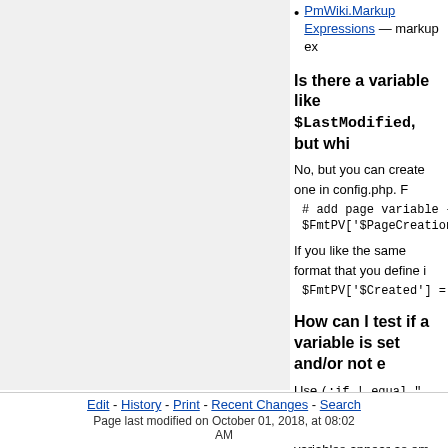PmWiki.Markup Expressions — markup ex…
Is there a variable like $LastModified, but whi…
No, but you can create one in config.php. Fo…
# add page variable {$PageCreati…
$FmtPV['$PageCreationDate'] = 's…
If you like the same format that you define i…
$FmtPV['$Created'] = "strftime(\$GL…
How can I test if a variable is set and/or not e…
Use (:if ! equal "{$Variable}" "":) …
undefined/inexistent variables appear as em…
Categories: PmWiki Developer
This page may have a more recent version on pmwiki.org: P…
Edit - History - Print - Recent Changes - Search
Page last modified on October 01, 2018, at 08:02 AM